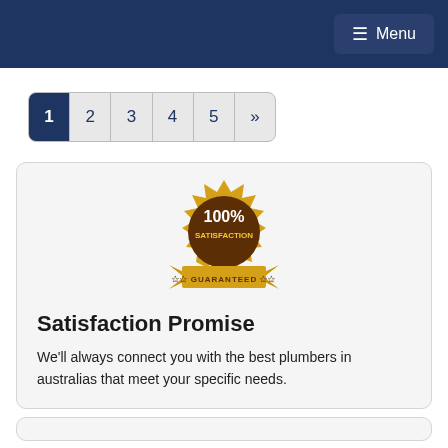☰ Menu
1
2
3
4
5
»
[Figure (illustration): Gold and brown satisfaction guarantee badge with '100% SATISFACTION GUARANTEED' text]
Satisfaction Promise
We'll always connect you with the best plumbers in australias that meet your specific needs.